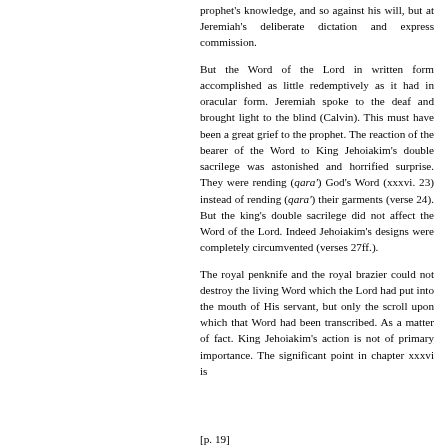prophet's knowledge, and so against his will, but at Jeremiah's deliberate dictation and express commission.
But the Word of the Lord in written form accomplished as little redemptively as it had in oracular form. Jeremiah spoke to the deaf and brought light to the blind (Calvin). This must have been a great grief to the prophet. The reaction of the bearer of the Word to King Jehoiakim's double sacrilege was astonished and horrified surprise. They were rending (qara') God's Word (xxxvi. 23) instead of rending (qara') their garments (verse 24). But the king's double sacrilege did not affect the Word of the Lord. Indeed Jehoiakim's designs were completely circumvented (verses 27ff.).
The royal penknife and the royal brazier could not destroy the living Word which the Lord had put into the mouth of His servant, but only the scroll upon which that Word had been transcribed. As a matter of fact. King Jehoiakim's action is not of primary importance. The significant point in chapter xxxvi is
[p. 19]